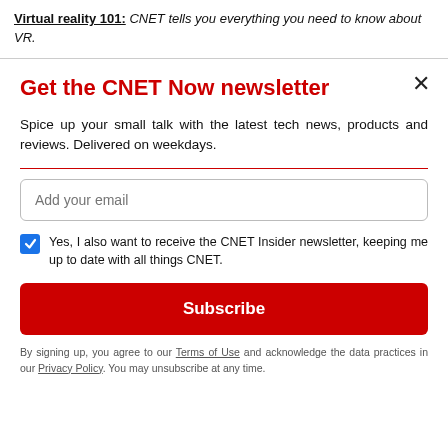Virtual reality 101: CNET tells you everything you need to know about VR.
Get the CNET Now newsletter
Spice up your small talk with the latest tech news, products and reviews. Delivered on weekdays.
Add your email
Yes, I also want to receive the CNET Insider newsletter, keeping me up to date with all things CNET.
Subscribe
By signing up, you agree to our Terms of Use and acknowledge the data practices in our Privacy Policy. You may unsubscribe at any time.